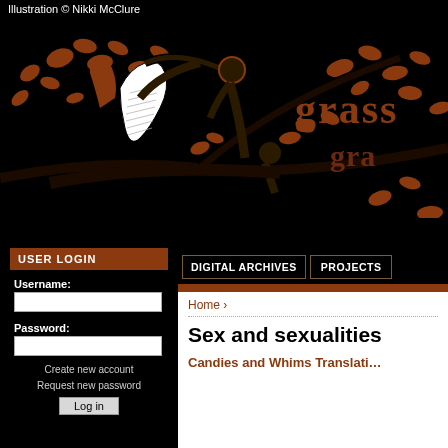Illustration © Nikki McClure
[Figure (illustration): Woodcut-style illustration showing figures in a tree with leaves, black and brown colors. The word 'grass' appears in brown text partially visible on the right side.]
USER LOGIN
Username:
Password:
Create new account
Request new password
Log in
DIGITAL ARCHIVES
PROJECTS
Home ›
Sex and sexualities
Candies and Whims Translati...